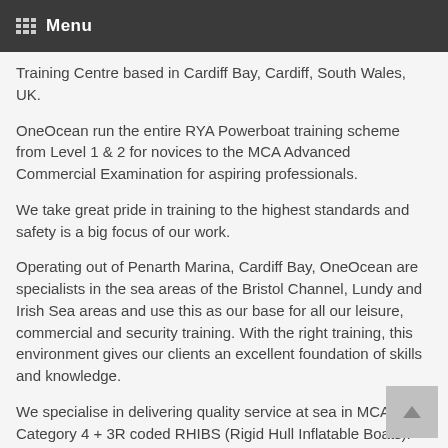Menu
Training Centre based in Cardiff Bay, Cardiff, South Wales, UK.
OneOcean run the entire RYA Powerboat training scheme from Level 1 & 2 for novices to the MCA Advanced Commercial Examination for aspiring professionals.
We take great pride in training to the highest standards and safety is a big focus of our work.
Operating out of Penarth Marina, Cardiff Bay, OneOcean are specialists in the sea areas of the Bristol Channel, Lundy and Irish Sea areas and use this as our base for all our leisure, commercial and security training. With the right training, this environment gives our clients an excellent foundation of skills and knowledge.
We specialise in delivering quality service at sea in MCA Category 4 + 3R coded RHIBS (Rigid Hull Inflatable Boats).
As well as the modules afloat, we also deliver the RYA shorebased theory scheme and offer a full range to suit leisure